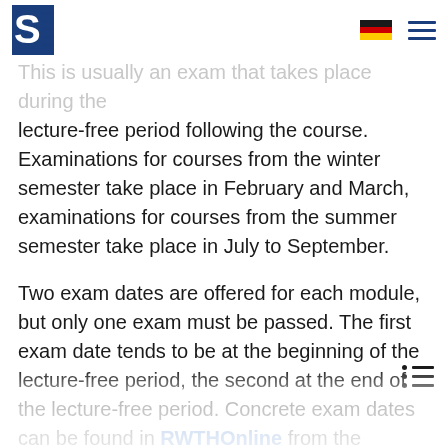RWTH Aachen University navigation header with logo, German flag, and menu icon
This is usually an exam that takes place during the lecture-free period following the course. Examinations for courses from the winter semester take place in February and March, examinations for courses from the summer semester take place in July to September.
Two exam dates are offered for each module, but only one exam must be passed. The first exam date tends to be at the beginning of the lecture-free period, the second at the end of the lecture-free period. Concrete exam dates can be found in RWTHOnline from the beginning of each semester.
Students can register for either exam date via RWTHOnline. The registration period for the first examination date usually ends two weeks before the end of the semester and for the second examination date one